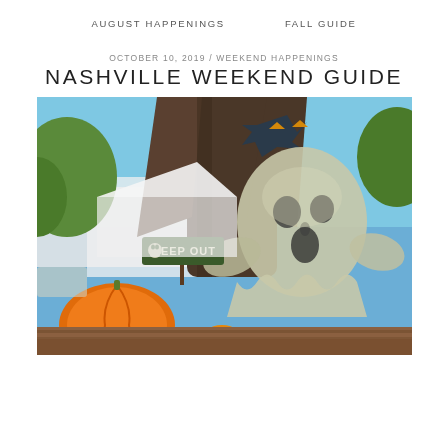AUGUST HAPPENINGS    FALL GUIDE
OCTOBER 10, 2019 / WEEKEND HAPPENINGS
NASHVILLE WEEKEND GUIDE
[Figure (photo): Halloween decorations at an outdoor market: a wooden ghost figure with a screaming face, a 'KEEP OUT' skull sign on a tree, orange pumpkins on a wooden surface, blue sky background with white tent and green trees.]